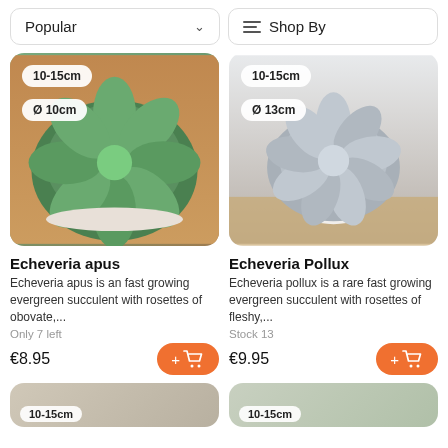Popular
Shop By
[Figure (photo): Green succulent Echeveria apus plant in a white dish on a wooden surface, with badges showing 10-15cm size and Ø 10cm pot diameter]
[Figure (photo): Grey/blue Echeveria Pollux succulent in a white pot on a wooden table, with badges showing 10-15cm size and Ø 13cm pot diameter]
Echeveria apus
Echeveria Pollux
Echeveria apus is an fast growing evergreen succulent with rosettes of obovate,...
Echeveria pollux is a rare fast growing evergreen succulent with rosettes of fleshy,...
Only 7 left
Stock 13
€8.95
€9.95
[Figure (photo): Partial view of a succulent plant, bottom-left card, badge shows 10-15cm]
[Figure (photo): Partial view of a succulent plant, bottom-right card, badge shows 10-15cm]